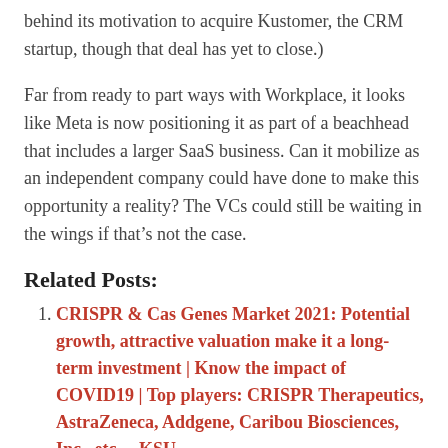behind its motivation to acquire Kustomer, the CRM startup, though that deal has yet to close.)
Far from ready to part ways with Workplace, it looks like Meta is now positioning it as part of a beachhead that includes a larger SaaS business. Can it mobilize as an independent company could have done to make this opportunity a reality? The VCs could still be waiting in the wings if that’s not the case.
Related Posts:
CRISPR & Cas Genes Market 2021: Potential growth, attractive valuation make it a long-term investment | Know the impact of COVID19 | Top players: CRISPR Therapeutics, AstraZeneca, Addgene, Caribou Biosciences, Inc., etc. – KSU
Universal valued at $ 40 billion, more than Vivendi parent documents
DCB Bank reflects pain in small businesses but valuation remains attractive